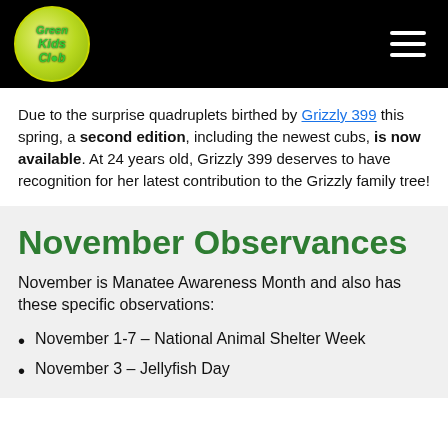Green Kids Club
Due to the surprise quadruplets birthed by Grizzly 399 this spring, a second edition, including the newest cubs, is now available. At 24 years old, Grizzly 399 deserves to have recognition for her latest contribution to the Grizzly family tree!
November Observances
November is Manatee Awareness Month and also has these specific observations:
November 1-7 – National Animal Shelter Week
November 3 – Jellyfish Day